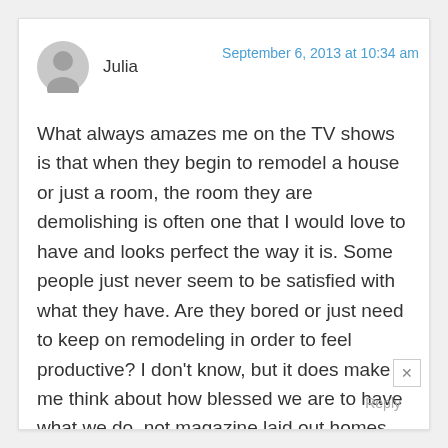Julia
September 6, 2013 at 10:34 am
What always amazes me on the TV shows is that when they begin to remodel a house or just a room, the room they are demolishing is often one that I would love to have and looks perfect the way it is. Some people just never seem to be satisfied with what they have. Are they bored or just need to keep on remodeling in order to feel productive? I don't know, but it does make me think about how blessed we are to have what we do, not magazine laid out homes that no one is comfortable in.
Reply